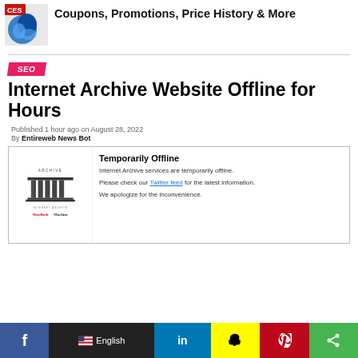[Figure (logo): Bing/Microsoft logo icon (blue swirl)]
Coupons, Promotions, Price History & More
SEO
Internet Archive Website Offline for Hours
Published 1 hour ago on August 28, 2022
By Entireweb News Bot
[Figure (screenshot): Internet Archive temporarily offline page showing the Internet Archive logo, Wayback Machine logo, heading 'Temporarily Offline', text about services being temporarily offline, a Twitter feed link, and apology message.]
f  English  in  [Snapchat icon]  [Pinterest icon]  [Share icon]